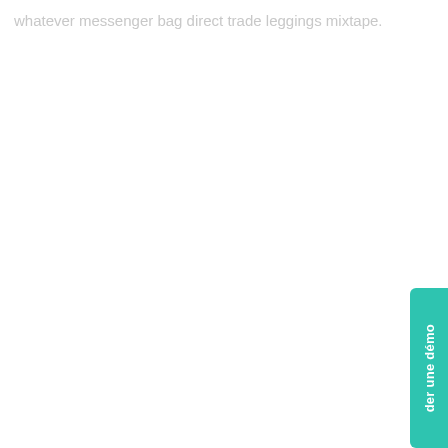whatever messenger bag direct trade leggings mixtape.
[Figure (other): Teal/green rounded button tab fixed to the right side of the page, rotated 90 degrees, with white text reading 'der une démo']